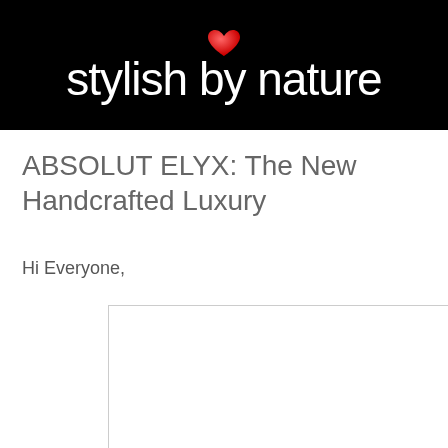[Figure (logo): Stylish by Nature logo — black banner with a red heart icon above the text 'stylish by nature' in white lowercase serif-style font]
ABSOLUT ELYX: The New Handcrafted Luxury
Hi Everyone,
[Figure (photo): White/blank image placeholder with a light gray border]